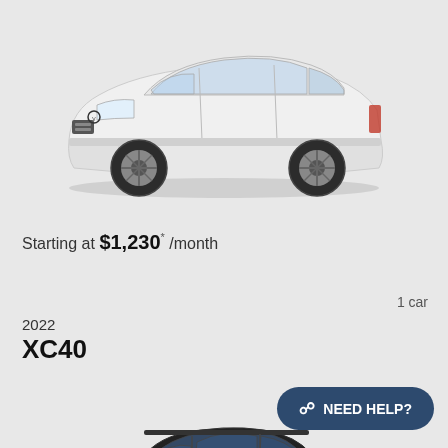[Figure (photo): White Volvo S90 sedan photographed from a front three-quarter angle on a light gray background]
Starting at $1,230* /month
1 car
2022
XC40
[Figure (photo): Black Volvo XC40 SUV photographed from a front three-quarter angle on a light gray background]
NEED HELP?